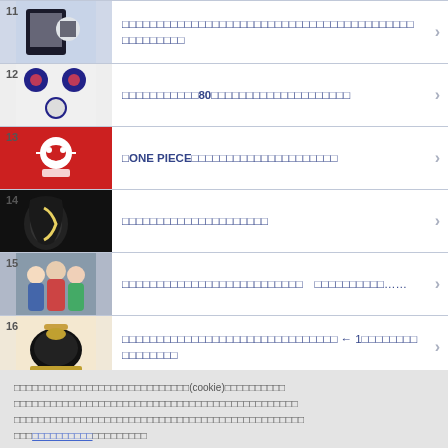11 □□□□□□□□□□□□□□□□□□□□□□□□□□□□□□□□□□□□□□□□□□□□□□□□□
12 □□□□□□□□□□□80□□□□□□□□□□□□□□□□□
13 □ONE PIECE□□□□□□□□□□□□□□□□□□□□□
14 □□□□□□□□□□□□□□□□□□□
15 □□□□□□□□□□□□□□□□□□□□□□□□□□　□□□□□□□□□□……
16 □□□□□□□□□□□□□□□□□□□□□□□□□□□□□□□ ← 1□□□□□□□□□□□□□□□□
□□□□□□□□□□□□□□□□□□□□□□□□□□□□□(cookie)□□□□□□□□□□□□□□□□□□□□□□□□□□□□□□□□□□□□□□□□□□□□□□□□□□□□□□□□□□□□□□□□□□□□□□□□□□□□□□□□□□□□□□□□□□□□□□□□□□□□□
□□□□□□□□□□□□□□□□□□□□□□□□□□□□□□□